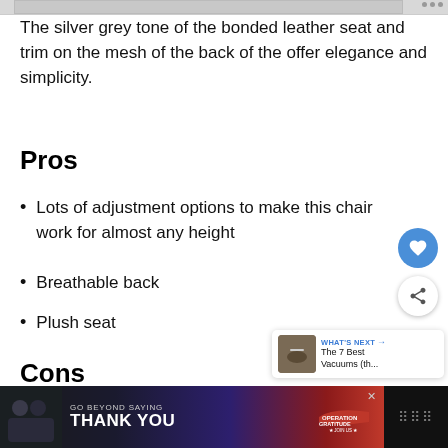[Figure (photo): Partial image strip at top showing a chair photo, partially cropped]
The silver grey tone of the bonded leather seat and trim on the mesh of the back of the offer elegance and simplicity.
Pros
Lots of adjustment options to make this chair work for almost any height
Breathable back
Plush seat
Cons
[Figure (infographic): Footer advertisement banner: GO BEYOND SAYING THANK YOU - Operation Gratitude JOIN US]
[Figure (other): What's Next widget showing 'The 7 Best Vacuums (th...']